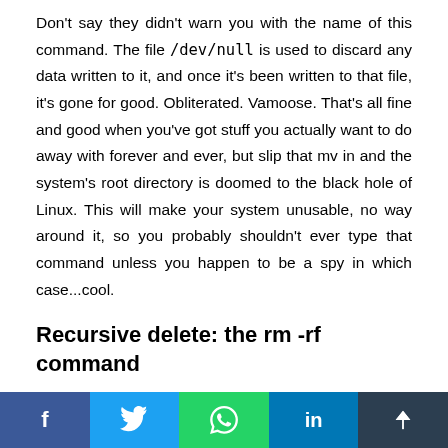Don't say they didn't warn you with the name of this command. The file /dev/null is used to discard any data written to it, and once it's been written to that file, it's gone for good. Obliterated. Vamoose. That's all fine and good when you've got stuff you actually want to do away with forever and ever, but slip that mv in and the system's root directory is doomed to the black hole of Linux. This will make your system unusable, no way around it, so you probably shouldn't ever type that command unless you happen to be a spy in which case...cool.
Recursive delete: the rm -rf command
One of the quickest ways to delete a folder and its contents is using the recursive delete command, and when you intend to delete a folder and its contents and you type rm -rf
f  [twitter]  [whatsapp]  in  [share]